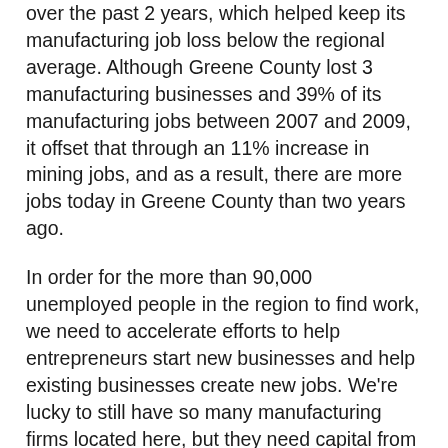over the past 2 years, which helped keep its manufacturing job loss below the regional average. Although Greene County lost 3 manufacturing businesses and 39% of its manufacturing jobs between 2007 and 2009, it offset that through an 11% increase in mining jobs, and as a result, there are more jobs today in Greene County than two years ago.
In order for the more than 90,000 unemployed people in the region to find work, we need to accelerate efforts to help entrepreneurs start new businesses and help existing businesses create new jobs. We're lucky to still have so many manufacturing firms located here, but they need capital from banks and investors in order to take advantage of sales opportunities when they appear, and they need a competitive business climate in which to operate.
The new state budget will play an important role in determining how well the region's businesses will fare during the recovery. The state made significant cuts this year in funding for entrepreneurial assistance agencies, and restoration of these cuts will be important to the region's